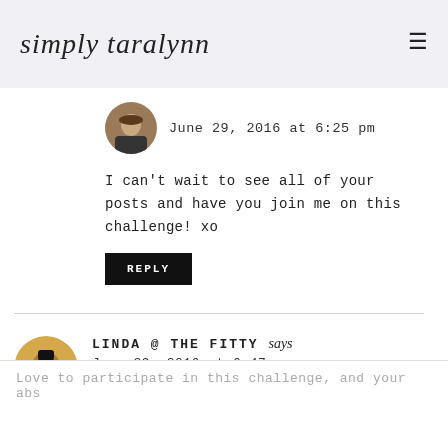simply taralynn
June 29, 2016 at 6:25 pm
I can't wait to see all of your posts and have you join me on this challenge! xo
REPLY
LINDA @ THE FITTY says
June 29, 2016 at 6:47 pm
Love to participate in this challenge, and your abs